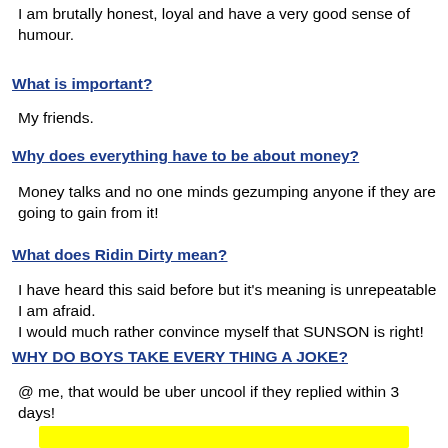I am brutally honest, loyal and have a very good sense of humour.
What is important?
My friends.
Why does everything have to be about money?
Money talks and no one minds gezumping anyone if they are going to gain from it!
What does Ridin Dirty mean?
I have heard this said before but it's meaning is unrepeatable I am afraid.
I would much rather convince myself that SUNSON is right!
WHY DO BOYS TAKE EVERY THING A JOKE?
@ me, that would be uber uncool if they replied within 3 days!
[Figure (other): Yellow horizontal bar at the bottom of the page]